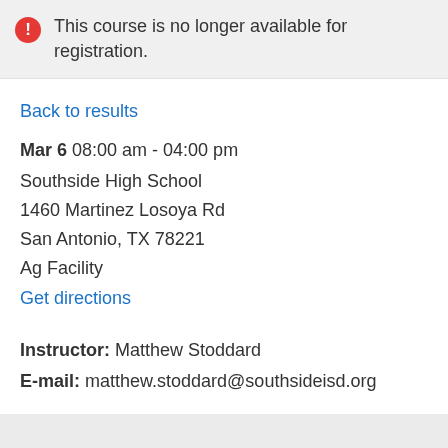This course is no longer available for registration.
Back to results
Mar 6 08:00 am - 04:00 pm
Southside High School
1460 Martinez Losoya Rd
San Antonio, TX 78221
Ag Facility
Get directions
Instructor: Matthew Stoddard
E-mail: matthew.stoddard@southsideisd.org
[Figure (other): Light gray map placeholder area]